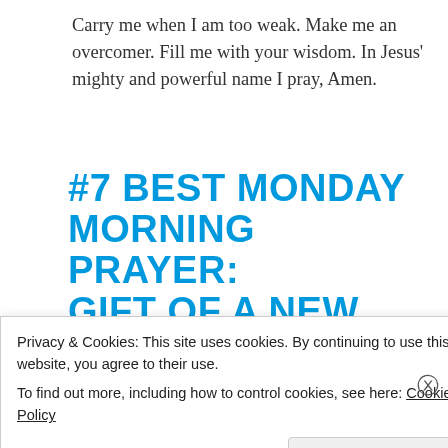Carry me when I am too weak. Make me an overcomer. Fill me with your wisdom. In Jesus' mighty and powerful name I pray, Amen.
#7 BEST MONDAY MORNING PRAYER: GIFT OF A NEW MORNING
[Figure (photo): Partial photo strip showing a close-up, partially visible at top of cookie banner]
Privacy & Cookies: This site uses cookies. By continuing to use this website, you agree to their use.
To find out more, including how to control cookies, see here: Cookie Policy
Close and accept